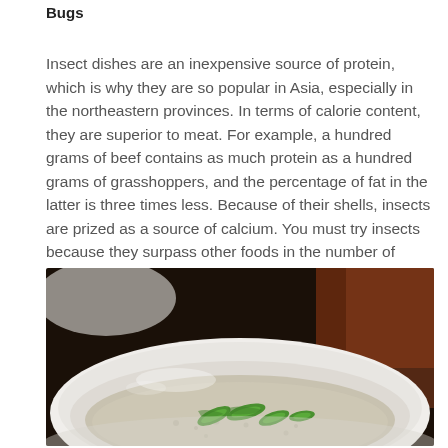Bugs
Insect dishes are an inexpensive source of protein, which is why they are so popular in Asia, especially in the northeastern provinces. In terms of calorie content, they are superior to meat. For example, a hundred grams of beef contains as much protein as a hundred grams of grasshoppers, and the percentage of fat in the latter is three times less. Because of their shells, insects are prized as a source of calcium. You must try insects because they surpass other foods in the number of vitamins and minerals.
[Figure (photo): A white ceramic bowl filled with a light soup or porridge, garnished with bright green sliced chili peppers, on a dark background.]